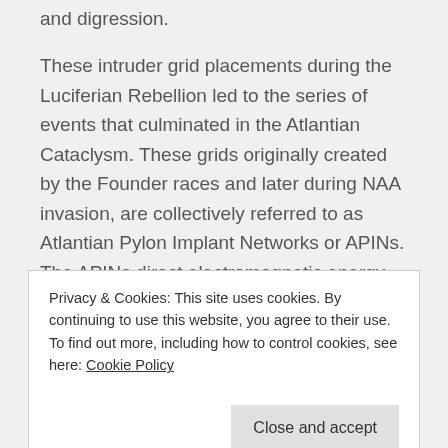and digression.
These intruder grid placements during the Luciferian Rebellion led to the series of events that culminated in the Atlantian Cataclysm. These grids originally created by the Founder races and later during NAA invasion, are collectively referred to as Atlantian Pylon Implant Networks or APINs. The APINs direct electromagnetic energy running in the ley lines that are designed in the shapes of
Privacy & Cookies: This site uses cookies. By continuing to use this website, you agree to their use.
To find out more, including how to control cookies, see here: Cookie Policy
Close and accept